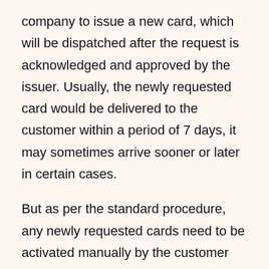company to issue a new card, which will be dispatched after the request is acknowledged and approved by the issuer. Usually, the newly requested card would be delivered to the customer within a period of 7 days, it may sometimes arrive sooner or later in certain cases.
But as per the standard procedure, any newly requested cards need to be activated manually by the customer before making any purchases using it, Generally, the cards will be sent in a white lengthy envelope with tickers of the shipping company on the front. Inside, the envelope, you would have your cards and other general information related to the card you've received.